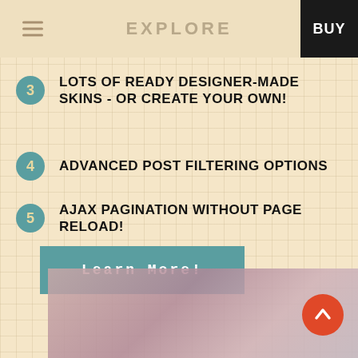EXPLORE
BUY
3 LOTS OF READY DESIGNER-MADE SKINS - OR CREATE YOUR OWN!
4 ADVANCED POST FILTERING OPTIONS
5 AJAX PAGINATION WITHOUT PAGE RELOAD!
Learn More!
[Figure (photo): Blurred photo at bottom of page, pinkish/mauve tones]